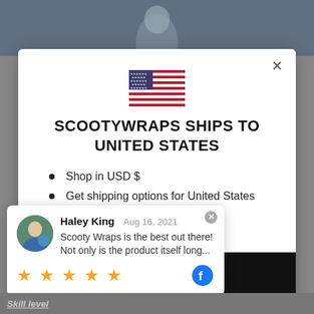[Figure (screenshot): Background video thumbnail showing person, partially visible at top]
[Figure (illustration): US flag emoji/icon centered in modal]
SCOOTYWRAPS SHIPS TO UNITED STATES
Shop in USD $
Get shipping options for United States
[Figure (screenshot): Shop now button - black background with white text]
Haley King Aug 16, 2021 Scoooty Wraps is the best out there! Not only is the product itself long...
Skill level